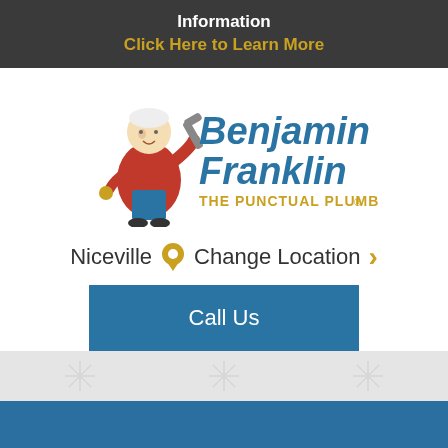Information
Click Here to Learn More
[Figure (logo): Benjamin Franklin The Punctual Plumber logo with cartoon character holding a wrench]
Niceville  Change Location >
Call Us
[Figure (infographic): Blue section with yellow document card icon, accessibility button, and Text Us Now button]